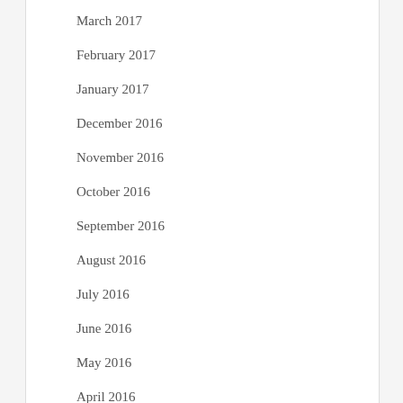March 2017
February 2017
January 2017
December 2016
November 2016
October 2016
September 2016
August 2016
July 2016
June 2016
May 2016
April 2016
March 2016
February 2016
January 2016
December 2015